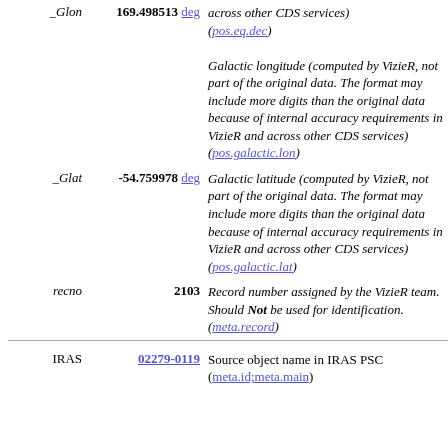| Name | Value | Description |
| --- | --- | --- |
| _Glon | 169.498513 deg | Galactic longitude (computed by VizieR, not part of the original data. The format may include more digits than the original data because of internal accuracy requirements in VizieR and across other CDS services) (pos.galactic.lon) |
| _Glat | -54.759978 deg | Galactic latitude (computed by VizieR, not part of the original data. The format may include more digits than the original data because of internal accuracy requirements in VizieR and across other CDS services) (pos.galactic.lat) |
| recno | 2103 | Record number assigned by the VizieR team. Should Not be used for identification. (meta.record) |
| IRAS | 02279-0119 | Source object name in IRAS PSC (meta.id;meta.main) |